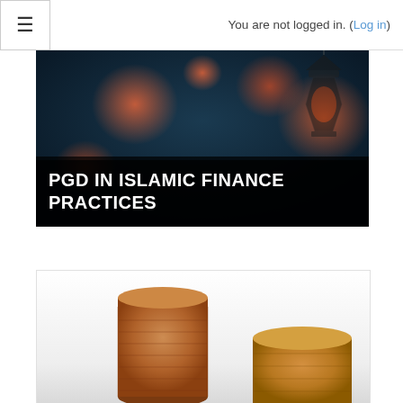You are not logged in. (Log in)
[Figure (photo): Hero banner image showing Islamic lantern/lamp with bokeh lights against a dark background, with a dark overlay band at bottom containing the title text 'PGD IN ISLAMIC FINANCE PRACTICES']
PGD IN ISLAMIC FINANCE PRACTICES
[Figure (photo): Photo of stacked copper and gold coins of varying heights against a light background, suggesting financial growth and savings]